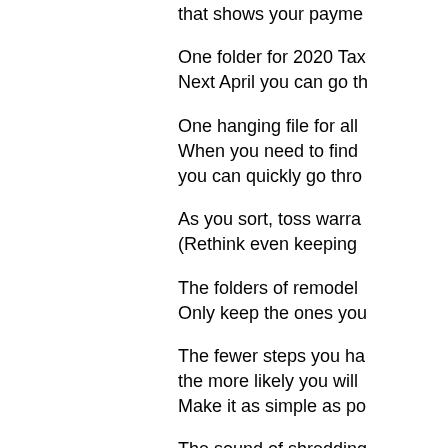that shows your payme
One folder for 2020 Tax Next April you can go th
One hanging file for all When you need to find you can quickly go thro
As you sort, toss warra (Rethink even keeping
The folders of remodel Only keep the ones you
The fewer steps you ha the more likely you will Make it as simple as po
The sound of shredding The sight of a full recyc
Befriending your shred (And isn't that part of th